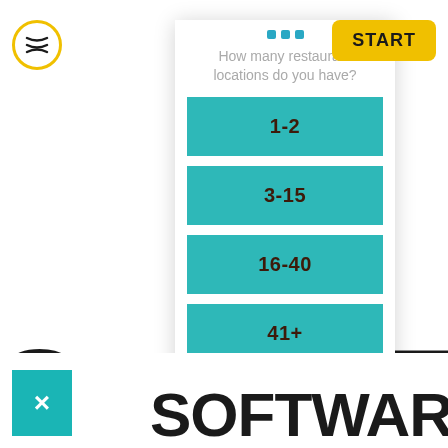[Figure (screenshot): App quiz modal asking 'How many restaurant locations do you have?' with four teal button choices: 1-2, 3-15, 16-40, 41+. Background shows large bold text partially visible: 'C' on left, 'ST' on right, and 'SOFTWARE (2022)' at bottom. Navigation bar has hamburger icon and yellow START button. A teal close box with X is visible bottom-left.]